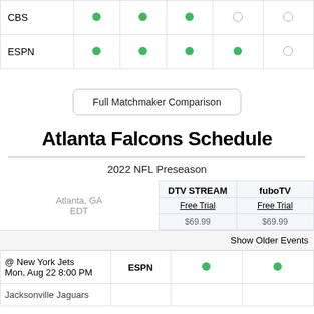|  | col1 | col2 | col3 | col4 | col5 |
| --- | --- | --- | --- | --- | --- |
| CBS | ● | ● | ● | ○ | ○ |
| ESPN | ● | ● | ● | ● | ○ |
Full Matchmaker Comparison
Atlanta Falcons Schedule
2022 NFL Preseason
|  | DTV STREAM | fuboTV |
| --- | --- | --- |
| Atlanta, GA EDT | Free Trial
$69.99 | Free Trial
$69.99 |
Show Older Events
| Game | Network | DTV STREAM | fuboTV |
| --- | --- | --- | --- |
| @ New York Jets
Mon, Aug 22 8:00 PM | ESPN | ● | ● |
| Jacksonville Jaguars |  |  |  |